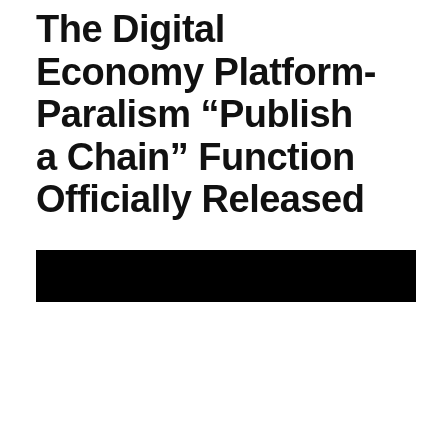The Digital Economy Platform- Paralism "Publish a Chain" Function Officially Released
[Figure (other): A solid black rectangular bar spanning most of the page width]